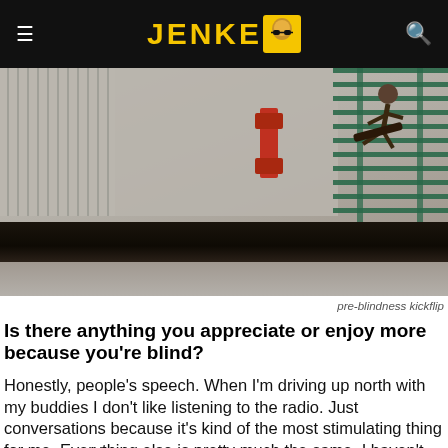JENKEM
[Figure (photo): Skateboarder performing a kickflip over a concrete ledge in an urban setting, with a corrugated metal shutter wall on the left and green scaffolding on the right. Photo taken from low angle showing the ledge in foreground.]
pre-blindness kickflip
Is there anything you appreciate or enjoy more because you're blind?
Honestly, people's speech. When I'm driving up north with my buddies I don't like listening to the radio. Just conversations because it's kind of the most stimulating thing for me. Everything else is pretty much the same. I haven't done anything on my skateboard yet that I haven't done before I was blind, so I'm hoping to eventually reach that point. My first goal is a handrail. I want something short enough so that I'll be able